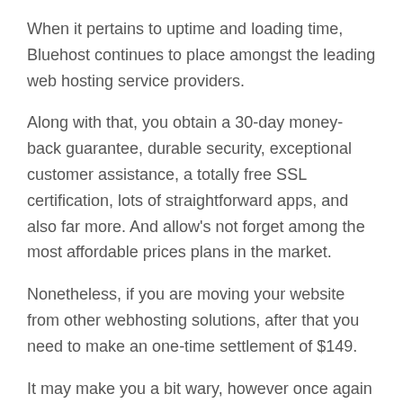When it pertains to uptime and loading time, Bluehost continues to place amongst the leading web hosting service providers.
Along with that, you obtain a 30-day money-back guarantee, durable security, exceptional customer assistance, a totally free SSL certification, lots of straightforward apps, and also far more. And allow's not forget among the most affordable prices plans in the market.
Nonetheless, if you are moving your website from other webhosting solutions, after that you need to make an one-time settlement of $149.
It may make you a bit wary, however once again the services as well as help you get for the sum are worth it ultimately.
On the whole, Bluehost provides one of the most effective webhosting alternatives on the marketplace and also obtains my